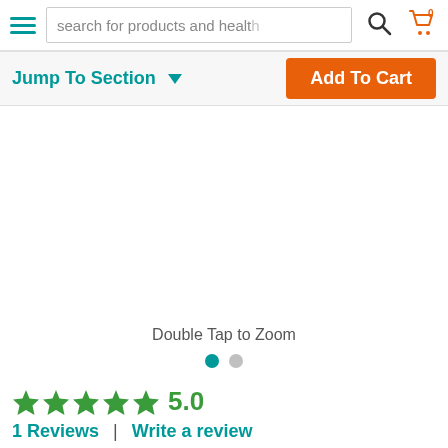search for products and health
Jump To Section
Add To Cart
Double Tap to Zoom
5.0
1 Reviews  |  Write a review